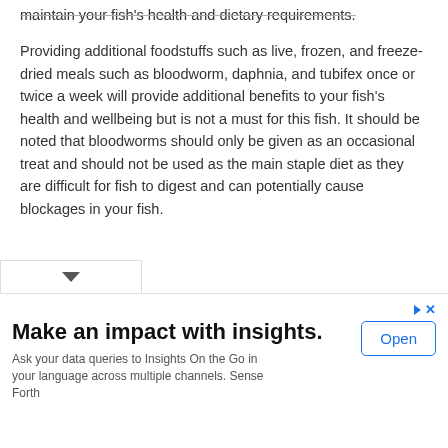maintain your fish's health and dietary requirements.
Providing additional foodstuffs such as live, frozen, and freeze-dried meals such as bloodworm, daphnia, and tubifex once or twice a week will provide additional benefits to your fish's health and wellbeing but is not a must for this fish. It should be noted that bloodworms should only be given as an occasional treat and should not be used as the main staple diet as they are difficult for fish to digest and can potentially cause blockages in your fish.
Make an impact with insights. Ask your data queries to Insights On the Go in your language across multiple channels. Sense Forth